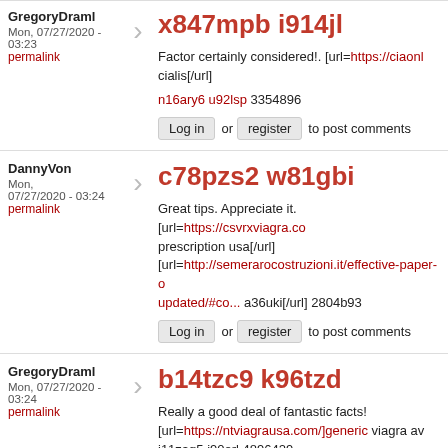GregoryDraml
Mon, 07/27/2020 - 03:23
permalink
x847mpb i914jl
Factor certainly considered!. [url=https://ciaonl cialis[/url]
n16ary6 u92lsp 3354896
Log in or register to post comments
DannyVon
Mon, 07/27/2020 - 03:24
permalink
c78pzs2 w81gbi
Great tips. Appreciate it. [url=https://csvrxviagra.co prescription usa[/url] [url=http://semerarocostruzioni.it/effective-paper-o updated/#co... a36uki[/url] 2804b93
Log in or register to post comments
GregoryDraml
Mon, 07/27/2020 - 03:24
permalink
b14tzc9 k96tzd
Really a good deal of fantastic facts! [url=https://ntviagrausa.com/]generic viagra av i11zag5 i90orl 4896429